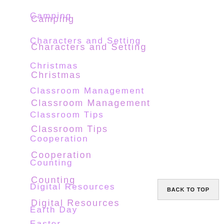Camping
Characters and Setting
Christmas
Classroom Management
Classroom Tips
Cooperation
Counting
Digital Resources
Earth Day
Easter
BACK TO TOP